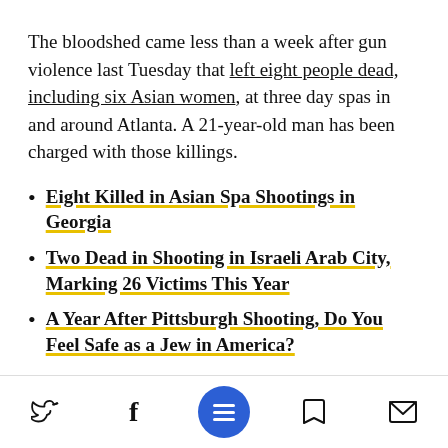The bloodshed came less than a week after gun violence last Tuesday that left eight people dead, including six Asian women, at three day spas in and around Atlanta. A 21-year-old man has been charged with those killings.
Eight Killed in Asian Spa Shootings in Georgia
Two Dead in Shooting in Israeli Arab City, Marking 26 Victims This Year
A Year After Pittsburgh Shooting, Do You Feel Safe as a Jew in America?
Navigation bar with Twitter, Facebook, menu, bookmark, and mail icons